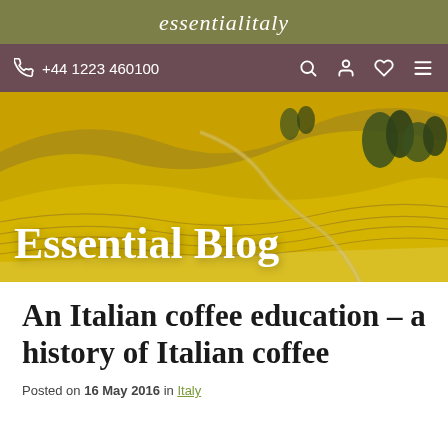essentialitaly
+44 1223 460100
[Figure (photo): Aerial view of rolling Tuscan hills with golden fields and winding paths, with 'Essential Blog' text overlay]
An Italian coffee education – a history of Italian coffee
Posted on 16 May 2016 in Italy